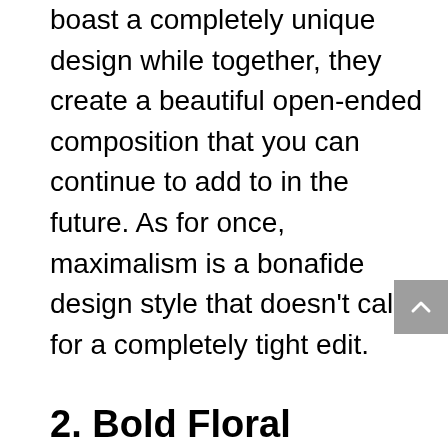boast a completely unique design while together, they create a beautiful open-ended composition that you can continue to add to in the future. As for once, maximalism is a bonafide design style that doesn't call for a completely tight edit.
2. Bold Floral